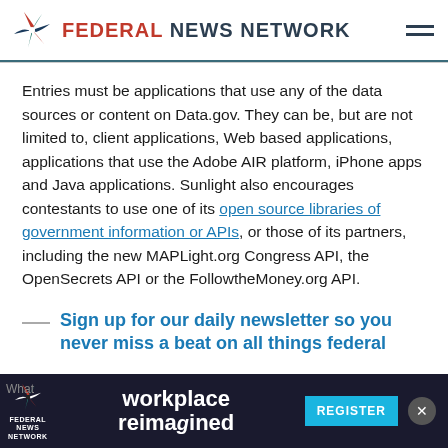FEDERAL NEWS NETWORK
Entries must be applications that use any of the data sources or content on Data.gov. They can be, but are not limited to, client applications, Web based applications, applications that use the Adobe AIR platform, iPhone apps and Java applications. Sunlight also encourages contestants to use one of its open source libraries of government information or APIs, or those of its partners, including the new MAPLight.org Congress API, the OpenSecrets API or the FollowtheMoney.org API.
Sign up for our daily newsletter so you never miss a beat on all things federal
[Figure (screenshot): Federal News Network advertisement banner for 'workplace reimagined' with a Register button]